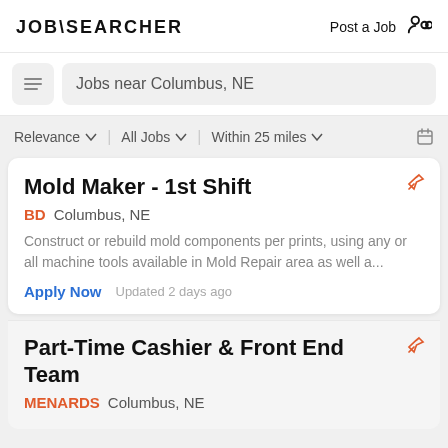JOB\SEARCHER   Post a Job
Jobs near Columbus, NE
Relevance  |  All Jobs  |  Within 25 miles
Mold Maker - 1st Shift
BD   Columbus, NE
Construct or rebuild mold components per prints, using any or all machine tools available in Mold Repair area as well a...
Apply Now   Updated 2 days ago
Part-Time Cashier & Front End Team
MENARDS   Columbus, NE